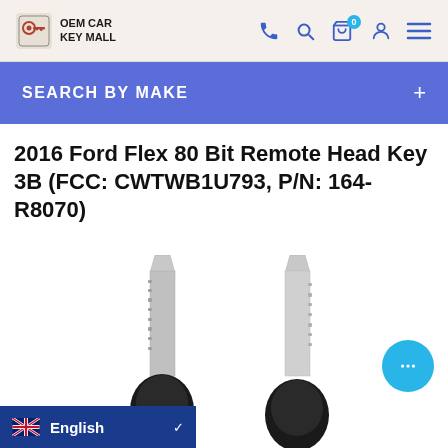OEM CAR KEY MALL
SEARCH BY MAKE
2016 Ford Flex 80 Bit Remote Head Key 3B (FCC: CWTWB1U793, P/N: 164-R8070)
[Figure (photo): Two car remote head keys with silver metal blades and black plastic key fob bodies, shown side by side against a white background]
English